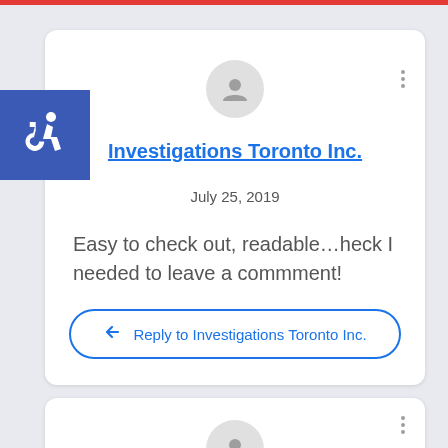[Figure (illustration): Blue square with wheelchair accessibility icon in white]
Investigations Toronto Inc.
July 25, 2019
Easy to check out, readable…heck I needed to leave a commment!
Reply to Investigations Toronto Inc.